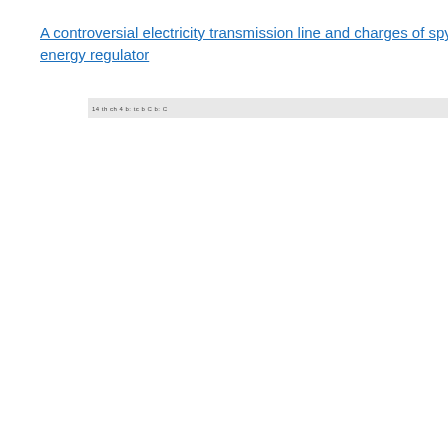A controversial electricity transmission line and charges of spying on an energy regulator
[Figure (other): Partially visible table or text header strip showing truncated column headings]